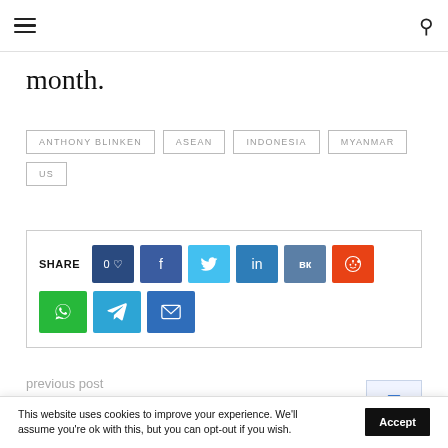Navigation header with hamburger menu and search icon
month.
ANTHONY BLINKEN
ASEAN
INDONESIA
MYANMAR
US
[Figure (infographic): Share buttons row: 0 likes button (dark blue), Facebook (blue), Twitter (light blue), LinkedIn (blue), VK (slate blue), Reddit (orange-red); second row: WhatsApp (green), Telegram (blue), Email (blue). SHARE label on left.]
previous post
This website uses cookies to improve your experience. We'll assume you're ok with this, but you can opt-out if you wish.